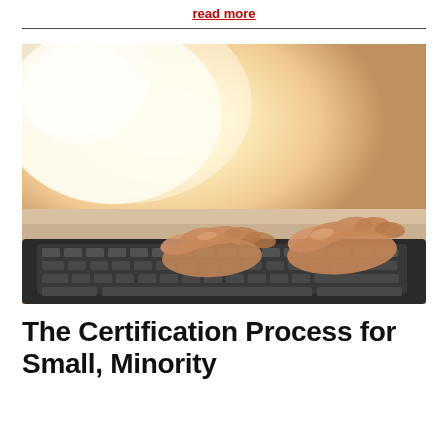read more
[Figure (photo): Close-up photograph of hands typing on a laptop keyboard with warm sunlight glare in the background]
The Certification Process for Small, Minority